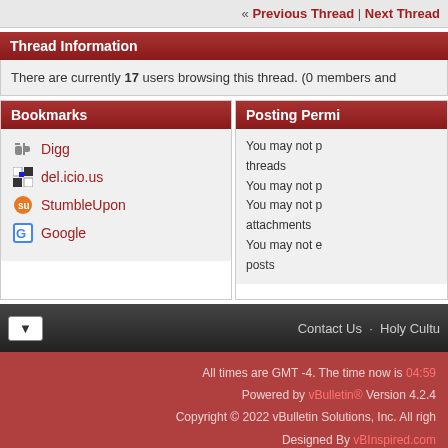« Previous Thread | Next Thread
Thread Information
There are currently 17 users browsing this thread. (0 members and
Bookmarks
Posting Permi
Digg
del.icio.us
StumbleUpon
Google
You may not p threads
You may not p
You may not p attachments
You may not e posts
Contact Us · Holy Cultu
All times are GMT -4. The time now is 04:59
Powered by vBulletin® Version 4.2.4
Copyright © 2022 vBulletin Solutions, Inc. All righ
Designed By vBInspired.com